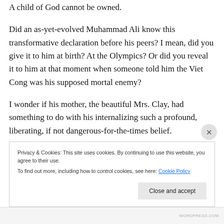A child of God cannot be owned.
Did an as-yet-evolved Muhammad Ali know this transformative declaration before his peers? I mean, did you give it to him at birth? At the Olympics? Or did you reveal it to him at that moment when someone told him the Viet Cong was his supposed mortal enemy?
I wonder if his mother, the beautiful Mrs. Clay, had something to do with his internalizing such a profound, liberating, if not dangerous-for-the-times belief.
Your Father...
Privacy & Cookies: This site uses cookies. By continuing to use this website, you agree to their use.
To find out more, including how to control cookies, see here: Cookie Policy